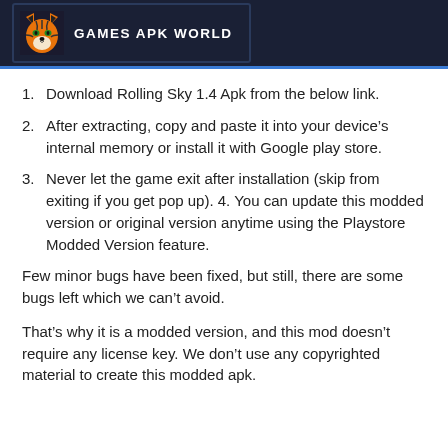GAMES APK WORLD
Download Rolling Sky 1.4 Apk from the below link.
After extracting, copy and paste it into your device’s internal memory or install it with Google play store.
Never let the game exit after installation (skip from exiting if you get pop up). 4. You can update this modded version or original version anytime using the Playstore Modded Version feature.
Few minor bugs have been fixed, but still, there are some bugs left which we can’t avoid.
That’s why it is a modded version, and this mod doesn’t require any license key. We don’t use any copyrighted material to create this modded apk.